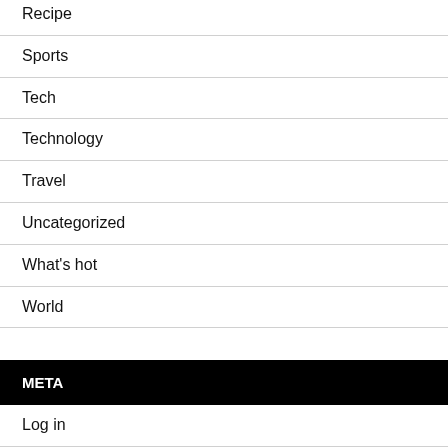Recipe
Sports
Tech
Technology
Travel
Uncategorized
What's hot
World
META
Log in
Entries feed